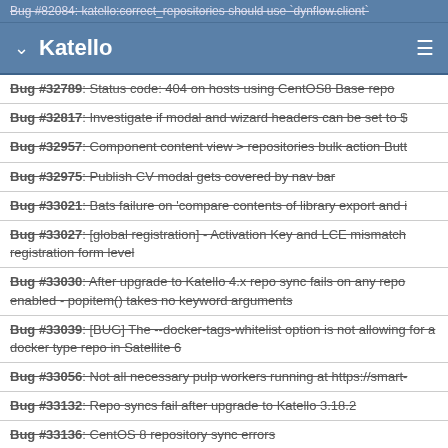Bug #82084: katello:correct_repositories should use `dynflow.client`
Katello
Bug #32789: Status code: 404 on hosts using CentOS8 Base repo
Bug #32817: Investigate if modal and wizard headers can be set to $
Bug #32957: Component content view > repositories bulk action Butt
Bug #32975: Publish CV modal gets covered by nav bar
Bug #33021: Bats failure on 'compare contents of library export and i
Bug #33027: [global registration] - Activation Key and LCE mismatch registration form level
Bug #33030: After upgrade to Katello 4.x repo sync fails on any repo enabled - popitem() takes no keyword arguments
Bug #33039: [BUG] The --docker-tags-whitelist option is not allowing for a docker type repo in Satellite 6
Bug #33056: Not all necessary pulp workers running at https://smart-
Bug #33132: Repo syncs fail after upgrade to Katello 3.18.2
Bug #33136: CentOS 8 repository sync errors
Bug #33157: Deprecation: app/controllers/katello/api/v2/content_view is marked for removal in version 4.0
Bug #33158: Deprecation: app/controllers/katello/api/v2/content_exp marked for removal in version 4.1
Bug #33184: Katello - Bulk Add/Bulk Remove Package Group Filter r